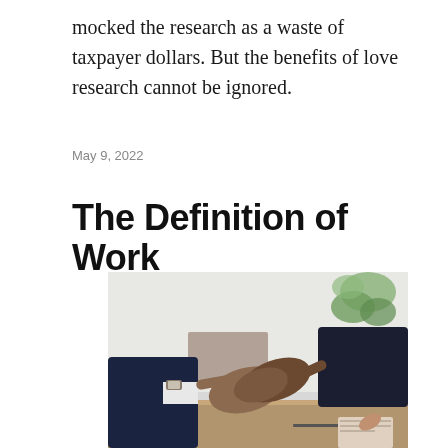mocked the research as a waste of taxpayer dollars. But the benefits of love research cannot be ignored.
May 9, 2022
The Definition of Work
[Figure (photo): Two people in business attire shaking hands over a desk with a laptop and notebook, in an office setting with a plant in the background.]